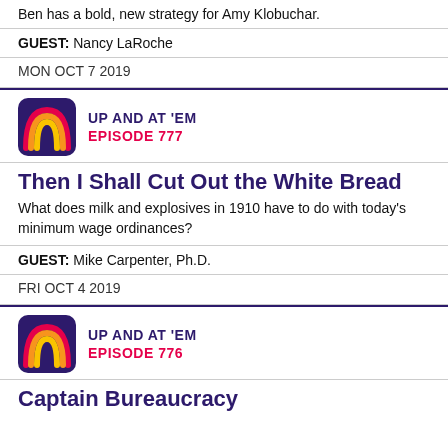Ben has a bold, new strategy for Amy Klobuchar.
GUEST: Nancy LaRoche
MON OCT 7 2019
[Figure (logo): Up and At Em podcast logo with rainbow arcs on dark background]
UP AND AT 'EM
EPISODE 777
Then I Shall Cut Out the White Bread
What does milk and explosives in 1910 have to do with today’s minimum wage ordinances?
GUEST: Mike Carpenter, Ph.D.
FRI OCT 4 2019
[Figure (logo): Up and At Em podcast logo with rainbow arcs on dark background]
UP AND AT 'EM
EPISODE 776
Captain Bureaucracy